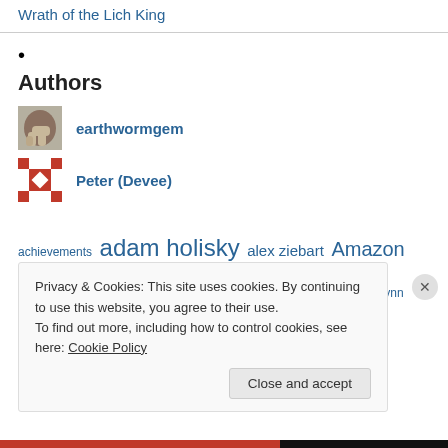Wrath of the Lich King
•
Authors
[Figure (illustration): Avatar photo of earthwormgem — hand/fingers photograph]
earthwormgem
[Figure (illustration): Avatar image of Peter (Devee) — red and white geometric pattern]
Peter (Devee)
achievements  adam holisky  alex ziebart  Amazon Games  amazon game studios  anduin wrynn  anne stickney  Battle for Azeroth
Privacy & Cookies: This site uses cookies. By continuing to use this website, you agree to their use.
To find out more, including how to control cookies, see here: Cookie Policy
Close and accept